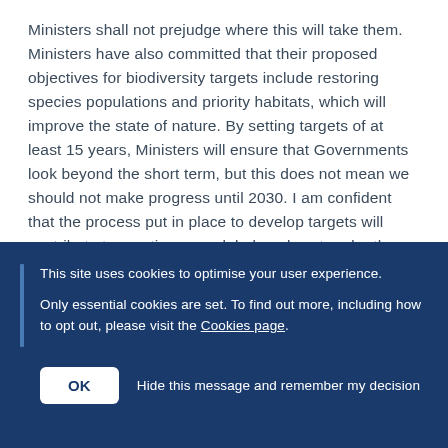Ministers shall not prejudge where this will take them. Ministers have also committed that their proposed objectives for biodiversity targets include restoring species populations and priority habitats, which will improve the state of nature. By setting targets of at least 15 years, Ministers will ensure that Governments look beyond the short term, but this does not mean we should not make progress until 2030. I am confident that the process put in place to develop targets will contribute to meeting new global goals set under the convention on biological diversity.

The UK is committed to playing a leading role in
This site uses cookies to optimise your user experience.

Only essential cookies are set. To find out more, including how to opt out, please visit the Cookies page.
OK  Hide this message and remember my decision